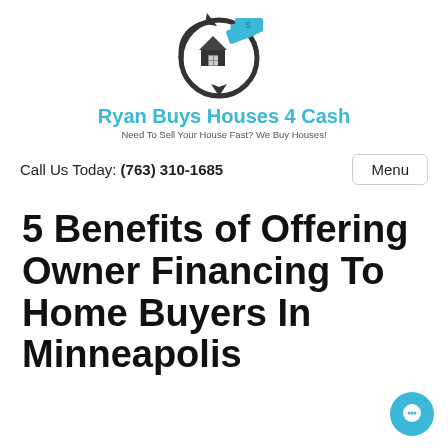[Figure (logo): Ryan Buys Houses 4 Cash logo: circular arrow with house and cash icons in dark gray and cyan/blue]
Ryan Buys Houses 4 Cash
Need To Sell Your House Fast? We Buy Houses!
Call Us Today: (763) 310-1685
Menu
5 Benefits of Offering Owner Financing To Home Buyers In Minneapolis